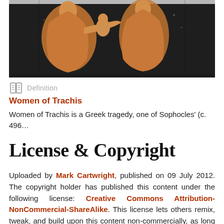[Figure (photo): Cropped photograph of an ancient Greek red-figure pottery vessel depicting figures (possibly from Women of Trachis), orange/ochre figures on black background, with gray background visible at sides.]
Definition
Women of Trachis
Women of Trachis is a Greek tragedy, one of Sophocles' (c. 496…
License & Copyright
Uploaded by Mark Cartwright, published on 09 July 2012. The copyright holder has published this content under the following license: Creative Commons Attribution-NonCommercial-ShareAlike. This license lets others remix, tweak, and build upon this content non-commercially, as long as they credit the author and license their new creations under the identical terms.